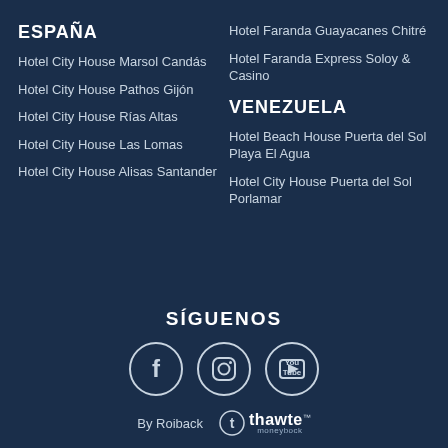ESPAÑA
Hotel City House Marsol Candás
Hotel City House Pathos Gijón
Hotel City House Rías Altas
Hotel City House Las Lomas
Hotel City House Alisas Santander
Hotel Faranda Guayacanes Chitré
Hotel Faranda Express Soloy & Casino
VENEZUELA
Hotel Beach House Puerta del Sol Playa El Agua
Hotel City House Puerta del Sol Porlamar
SÍGUENOS
[Figure (illustration): Three social media icons: Facebook (f), Instagram (camera), YouTube (You Tube play button), each in a white circle outline]
By Roiback
[Figure (logo): Thawte logo with circle containing t and text 'thawte' with moneyback tagline]